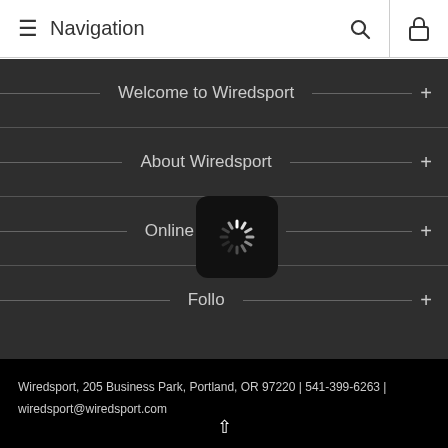Navigation
Welcome to Wiredsport
About Wiredsport
Online shopping
Follow
[Figure (other): Loading spinner overlay icon]
Wiredsport, 205 Business Park, Portland, OR 97220 | 541-399-6263 | wiredsport@wiredsport.com